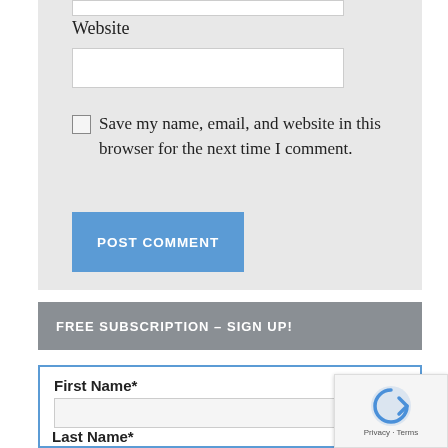Website
[Figure (screenshot): Website input field (empty text box)]
Save my name, email, and website in this browser for the next time I comment.
POST COMMENT
FREE SUBSCRIPTION – SIGN UP!
First Name*
[Figure (screenshot): First Name input field (empty text box)]
Last Name*
[Figure (screenshot): reCAPTCHA badge with Privacy and Terms text]